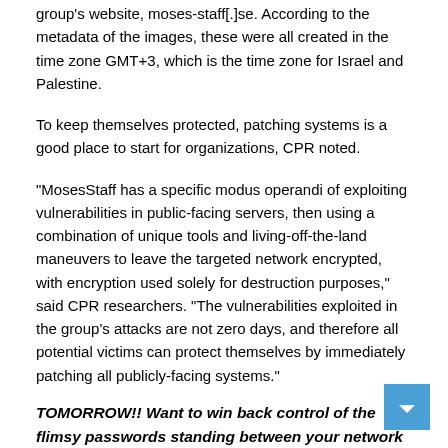group's website, moses-staff[.]se. According to the metadata of the images, these were all created in the time zone GMT+3, which is the time zone for Israel and Palestine.
To keep themselves protected, patching systems is a good place to start for organizations, CPR noted.
“MosesStaff has a specific modus operandi of exploiting vulnerabilities in public-facing servers, then using a combination of unique tools and living-off-the-land maneuvers to leave the targeted network encrypted, with encryption used solely for destruction purposes,” said CPR researchers. “The vulnerabilities exploited in the group’s attacks are not zero days, and therefore all potential victims can protect themselves by immediately patching all publicly-facing systems.”
TOMORROW!! Want to win back control of the flimsy passwords standing between your network and the next